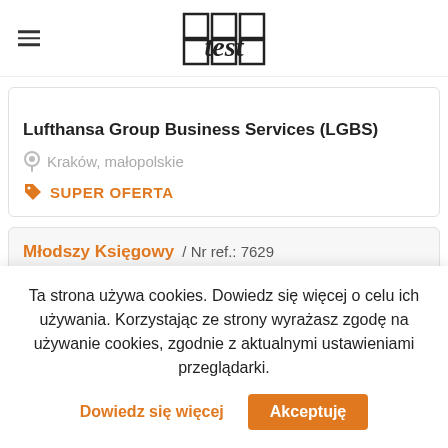test (logo)
Lufthansa Group Business Services (LGBS)
Kraków, małopolskie
SUPER OFERTA
Młodszy Księgowy / Nr ref.: 7629
Ta strona używa cookies. Dowiedz się więcej o celu ich używania. Korzystając ze strony wyrażasz zgodę na używanie cookies, zgodnie z aktualnymi ustawieniami przeglądarki.